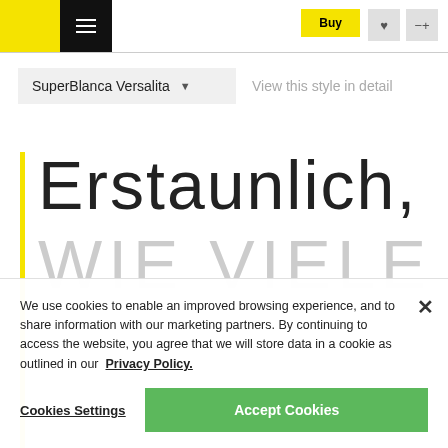SuperBlanca Versalita — View this style in detail
Erstaunlich,
WIE VIELE
We use cookies to enable an improved browsing experience, and to share information with our marketing partners. By continuing to access the website, you agree that we will store data in a cookie as outlined in our Privacy Policy.
Cookies Settings
Accept Cookies